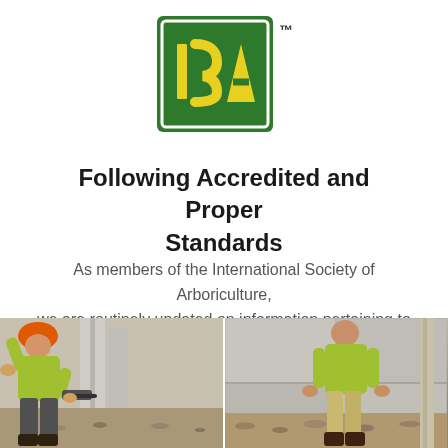[Figure (logo): ISA (International Society of Arboriculture) logo: green square with white border containing yellow ISA letters, with TM superscript]
Following Accredited and Proper Standards
As members of the International Society of Arboriculture, we are routinely updated on information pertaining to Arboriculture.  Including work safety, service techniques and updated standards for proper tree care.
[Figure (photo): Two side-by-side photos of arborists/tree workers in yellow-green shirts working outdoors]